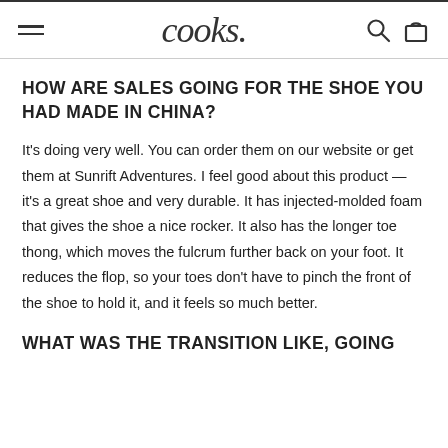cooks.
HOW ARE SALES GOING FOR THE SHOE YOU HAD MADE IN CHINA?
It's doing very well. You can order them on our website or get them at Sunrift Adventures. I feel good about this product — it's a great shoe and very durable. It has injected-molded foam that gives the shoe a nice rocker. It also has the longer toe thong, which moves the fulcrum further back on your foot. It reduces the flop, so your toes don't have to pinch the front of the shoe to hold it, and it feels so much better.
WHAT WAS THE TRANSITION LIKE, GOING